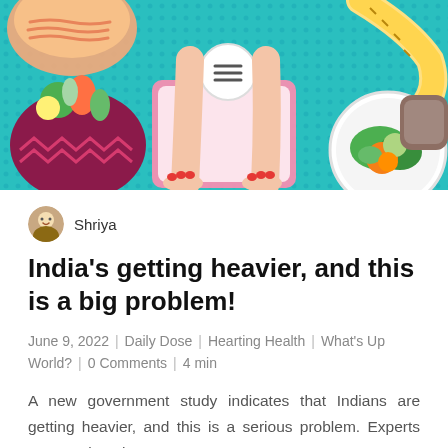[Figure (illustration): Colorful illustration of a person's legs and feet standing on a weighing scale, surrounded by food items including vegetables, a bowl of food, a plate of greens, and a measuring tape, against a teal dotted background]
Shriya
India's getting heavier, and this is a big problem!
June 9, 2022 | Daily Dose | Hearting Health | What's Up World? | 0 Comments | 4 min
A new government study indicates that Indians are getting heavier, and this is a serious problem. Experts are warning about a